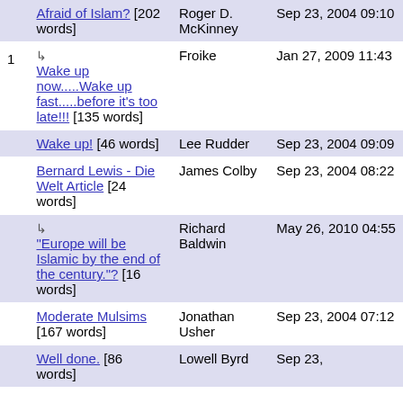| # | Title | Author | Date |
| --- | --- | --- | --- |
|  | Afraid of Islam? [202 words] | Roger D. McKinney | Sep 23, 2004 09:10 |
| 1 | ↳ Wake up now.....Wake up fast.....before it's too late!!! [135 words] | Froike | Jan 27, 2009 11:43 |
|  | Wake up! [46 words] | Lee Rudder | Sep 23, 2004 09:09 |
|  | Bernard Lewis - Die Welt Article [24 words] | James Colby | Sep 23, 2004 08:22 |
|  | ↳ "Europe will be Islamic by the end of the century."? [16 words] | Richard Baldwin | May 26, 2010 04:55 |
|  | Moderate Mulsims [167 words] | Jonathan Usher | Sep 23, 2004 07:12 |
|  | Well done. [86 words] | Lowell Byrd | Sep 23, |